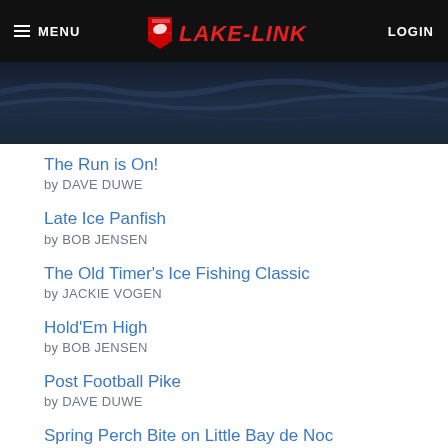MENU | LAKE-LINK | LOGIN
[Figure (illustration): Dark blue water wave banner background]
The Run is On! by DAVE DUWE
Late Ice Panfish by BOB JENSEN
The Old Timer's Ice Fishing Classic by JACKIE VOGEN
Hold'Em High by BOB JENSEN
Post Football Pike by DAVE DUWE
Spring Perch Bite on Little Bay de Noc by CAPTAIN MARTY PAPKE
The Friends We Meet Along the Way by JACKIE VOGEN